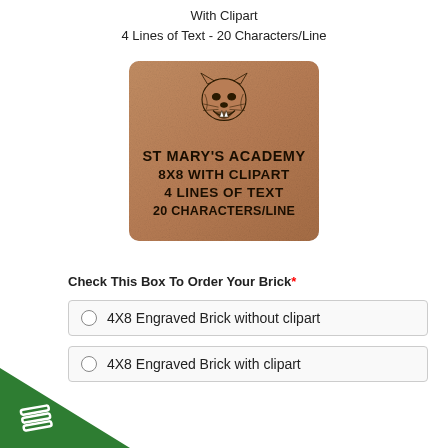With Clipart
4 Lines of Text - 20 Characters/Line
[Figure (photo): A brown engraved brick with a panther/cougar head clipart at top and text reading: ST MARY'S ACADEMY / 8X8 WITH CLIPART / 4 LINES OF TEXT / 20 CHARACTERS/LINE]
Check This Box To Order Your Brick*
4X8 Engraved Brick without clipart
4X8 Engraved Brick with clipart